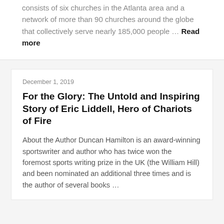North Point Ministries in 1995. Today, NPM consists of six churches in the Atlanta area and a network of more than 90 churches around the globe that collectively serve nearly 185,000 people … Read more
December 1, 2019
For the Glory: The Untold and Inspiring Story of Eric Liddell, Hero of Chariots of Fire
About the Author Duncan Hamilton is an award-winning sportswriter and author who has twice won the foremost sports writing prize in the UK (the William Hill) and been nominated an additional three times and is the author of several books …